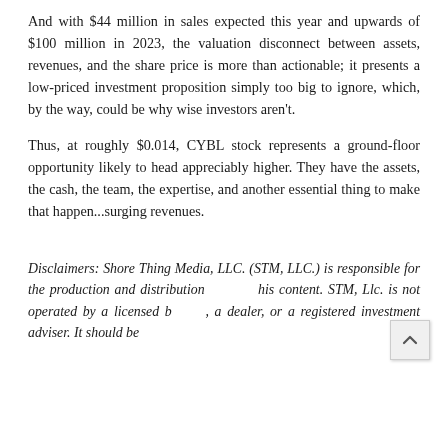And with $44 million in sales expected this year and upwards of $100 million in 2023, the valuation disconnect between assets, revenues, and the share price is more than actionable; it presents a low-priced investment proposition simply too big to ignore, which, by the way, could be why wise investors aren't.
Thus, at roughly $0.014, CYBL stock represents a ground-floor opportunity likely to head appreciably higher. They have the assets, the cash, the team, the expertise, and another essential thing to make that happen...surging revenues.
Disclaimers: Shore Thing Media, LLC. (STM, LLC.) is responsible for the production and distribution of this content. STM, Llc. is not operated by a licensed broker, a dealer, or a registered investment adviser. It should be